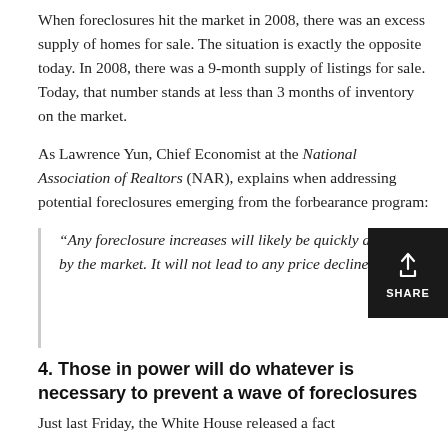When foreclosures hit the market in 2008, there was an excess supply of homes for sale. The situation is exactly the opposite today. In 2008, there was a 9-month supply of listings for sale. Today, that number stands at less than 3 months of inventory on the market.
As Lawrence Yun, Chief Economist at the National Association of Realtors (NAR), explains when addressing potential foreclosures emerging from the forbearance program:
“Any foreclosure increases will likely be quickly absorbed by the market. It will not lead to any price declines.”
4. Those in power will do whatever is necessary to prevent a wave of foreclosures
Just last Friday, the White House released a fact